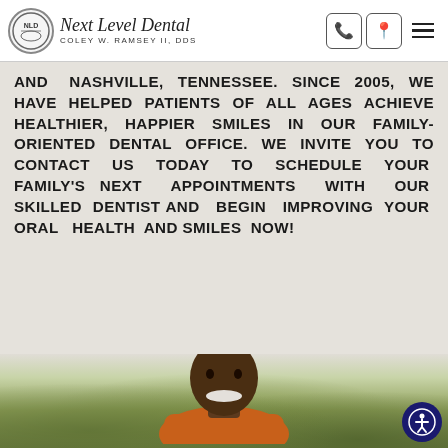Next Level Dental – Coley W. Ramsey II, DDS
AND NASHVILLE, TENNESSEE. SINCE 2005, WE HAVE HELPED PATIENTS OF ALL AGES ACHIEVE HEALTHIER, HAPPIER SMILES IN OUR FAMILY-ORIENTED DENTAL OFFICE. WE INVITE YOU TO CONTACT US TODAY TO SCHEDULE YOUR FAMILY'S NEXT APPOINTMENTS WITH OUR SKILLED DENTIST AND BEGIN IMPROVING YOUR ORAL HEALTH AND SMILES NOW!
[Figure (photo): Portrait photo of Dr. Coley W. Ramsey II smiling, wearing an orange shirt, with greenery in the background]